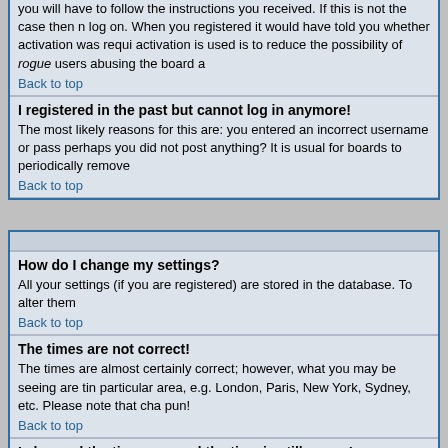you will have to follow the instructions you received. If this is not the case then maybe you have to log on. When you registered it would have told you whether activation was required. The reason activation is used is to reduce the possibility of rogue users abusing the board a
Back to top
I registered in the past but cannot log in anymore!
The most likely reasons for this are: you entered an incorrect username or password, or perhaps you did not post anything? It is usual for boards to periodically remove
Back to top
How do I change my settings?
All your settings (if you are registered) are stored in the database. To alter them
Back to top
The times are not correct!
The times are almost certainly correct; however, what you may be seeing are times displayed for a particular area, e.g. London, Paris, New York, Sydney, etc. Please note that cha pun!
Back to top
I changed the timezone and the time is still wrong!
If you are sure you have set the timezone correctly and the time is still different,